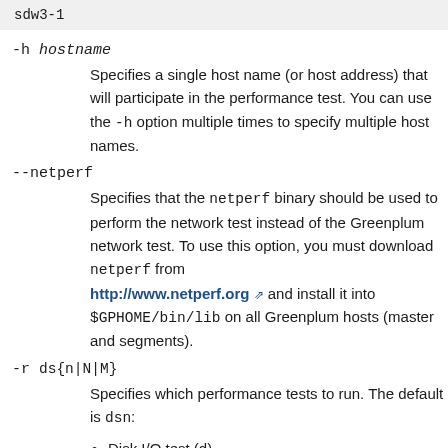sdw3-1
-h hostname
  Specifies a single host name (or host address) that will participate in the performance test. You can use the -h option multiple times to specify multiple host names.
--netperf
  Specifies that the netperf binary should be used to perform the network test instead of the Greenplum network test. To use this option, you must download netperf from http://www.netperf.org and install it into $GPHOME/bin/lib on all Greenplum hosts (master and segments).
-r ds{n|N|M}
  Specifies which performance tests to run. The default is dsn:
Disk I/O test (d)